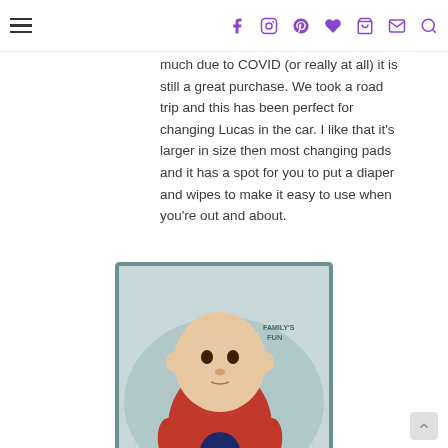Navigation header with hamburger menu and social icons (Facebook, Instagram, Pinterest, heart/wishlist, cart, email, search) in purple
much due to COVID (or really at all) it is still a great purchase. We took a road trip and this has been perfect for changing Lucas in the car. I like that it's larger in size then most changing pads and it has a spot for you to put a diaper and wipes to make it easy to use when you're out and about.
[Figure (photo): Photo of a newborn baby wearing a red Chicago Cubs onesie lying on a teal/grey portable changing pad with 'FUN' branding visible in upper right]